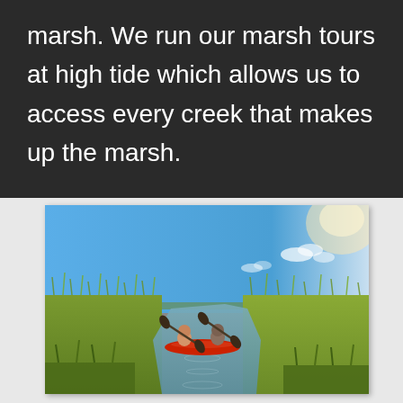marsh. We run our marsh tours at high tide which allows us to access every creek that makes up the marsh.
[Figure (photo): Two people paddling a red tandem kayak through a narrow creek in a salt marsh under a blue sky with light clouds. Tall green marsh grass lines both sides of the waterway.]